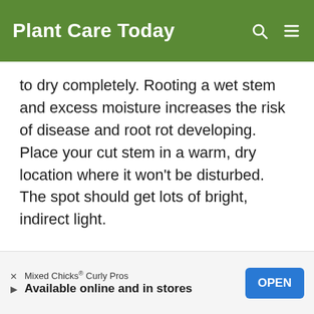Plant Care Today
to dry completely. Rooting a wet stem and excess moisture increases the risk of disease and root rot developing. Place your cut stem in a warm, dry location where it won't be disturbed. The spot should get lots of bright, indirect light.
[Figure (screenshot): Advertisement banner for Mixed Chicks Curly Pros. Text reads: 'Mixed Chicks® Curly Pros' and 'Available online and in stores' with an OPEN button.]